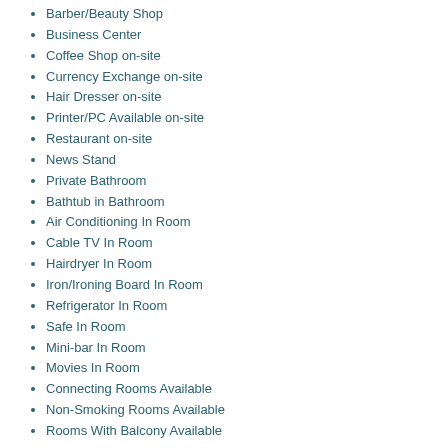Barber/Beauty Shop
Business Center
Coffee Shop on-site
Currency Exchange on-site
Hair Dresser on-site
Printer/PC Available on-site
Restaurant on-site
News Stand
Private Bathroom
Bathtub in Bathroom
Air Conditioning In Room
Cable TV In Room
Hairdryer In Room
Iron/Ironing Board In Room
Refrigerator In Room
Safe In Room
Mini-bar In Room
Movies In Room
Connecting Rooms Available
Non-Smoking Rooms Available
Rooms With Balcony Available
Main Al rigga Road-In the tourist and commercial hub of Dubai
Attractions
DXB-Dubai International Airport - 3.13 Miles South East
Jumeirah Beach - 3.13 Miles North East
Sharjah International Airport - 9.4 Miles North
Mamzar Beach - 3.13 Miles West
DXB-Dubai City Centre - 0.62 Miles South